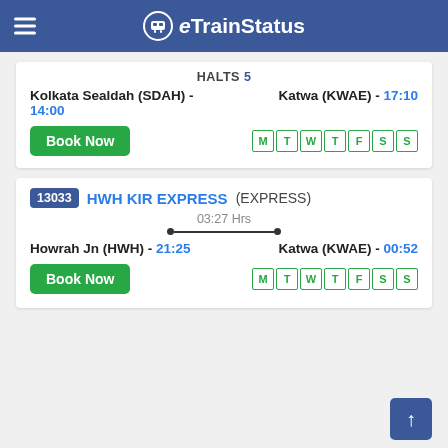eTrainStatus
HALTS 5
Kolkata Sealdah (SDAH) - 14:00   Katwa (KWAE) - 17:10
Book Now  M T W T F S S
13033 HWH KIR EXPRESS (EXPRESS)
03:27 Hrs
Howrah Jn (HWH) - 21:25   Katwa (KWAE) - 00:52
Book Now  M T W T F S S